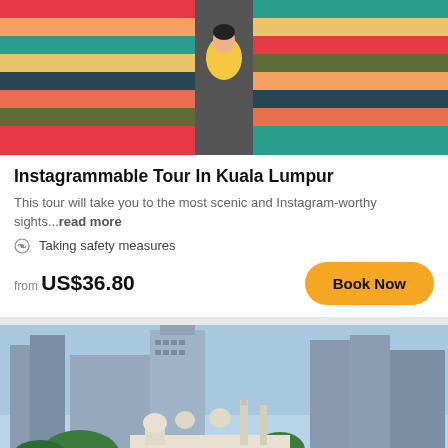[Figure (photo): Woman in yellow dress standing on colorful striped stairs, Kuala Lumpur tourist attraction]
Instagrammable Tour In Kuala Lumpur
This tour will take you to the most scenic and Instagram-worthy sights...read more
Taking safety measures
from US$36.80
Book Now
[Figure (photo): Kuala Lumpur city skyline with mosque and skyscrapers, river view]